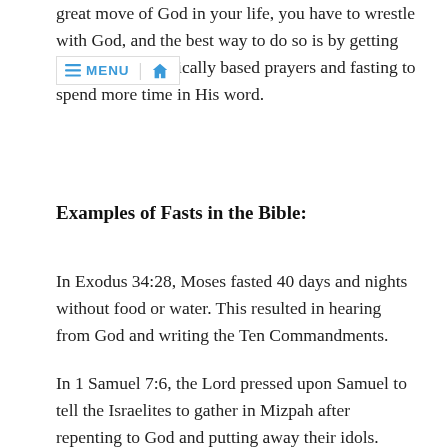great move of God in your life, you have to wrestle with God, and the best way to do so is by getting dangerous, biblically based prayers and fasting to spend more time in His word.
Examples of Fasts in the Bible:
In Exodus 34:28, Moses fasted 40 days and nights without food or water. This resulted in hearing from God and writing the Ten Commandments.
In 1 Samuel 7:6, the Lord pressed upon Samuel to tell the Israelites to gather in Mizpah after repenting to God and putting away their idols. There they were told to fast for that day for their repentance.
In Esther 4:16, Queen Esther asked that Mordecai would gather all the Jews and fast along with her and her maidens three days without food or water. Esther was desperate to save the Jews (her people)